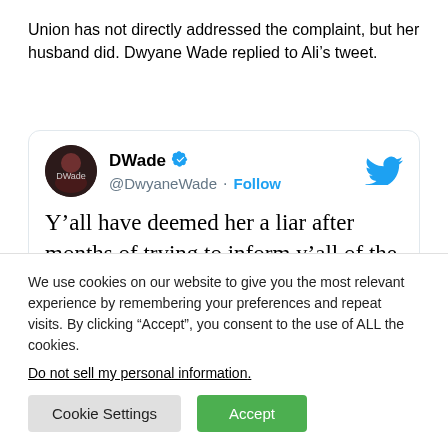Union has not directly addressed the complaint, but her husband did. Dwyane Wade replied to Aliâ€™s tweet.
[Figure (screenshot): Embedded tweet from @DwyaneWade with Twitter bird logo, avatar, verified badge, Follow link, and tweet text: Y'all have deemed her a liar after months of trying to inform y'all of the issues in the work place and also make sure other employees of color that comes after her]
We use cookies on our website to give you the most relevant experience by remembering your preferences and repeat visits. By clicking "Accept", you consent to the use of ALL the cookies.
Do not sell my personal information.